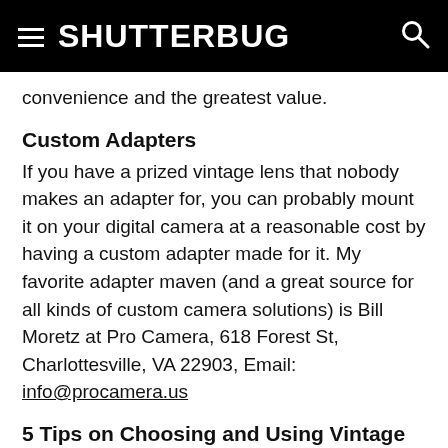SHUTTERBUG
convenience and the greatest value.
Custom Adapters
If you have a prized vintage lens that nobody makes an adapter for, you can probably mount it on your digital camera at a reasonable cost by having a custom adapter made for it. My favorite adapter maven (and a great source for all kinds of custom camera solutions) is Bill Moretz at Pro Camera, 618 Forest St, Charlottesville, VA 22903, Email: info@procamera.us
5 Tips on Choosing and Using Vintage Lenses
1. Many older lenses have fungus in the glass, and